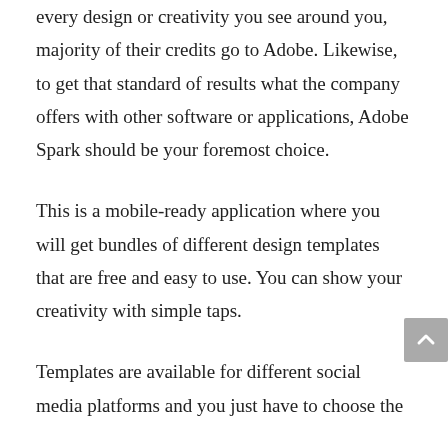every design or creativity you see around you, majority of their credits go to Adobe. Likewise, to get that standard of results what the company offers with other software or applications, Adobe Spark should be your foremost choice.
This is a mobile-ready application where you will get bundles of different design templates that are free and easy to use. You can show your creativity with simple taps.
Templates are available for different social media platforms and you just have to choose the